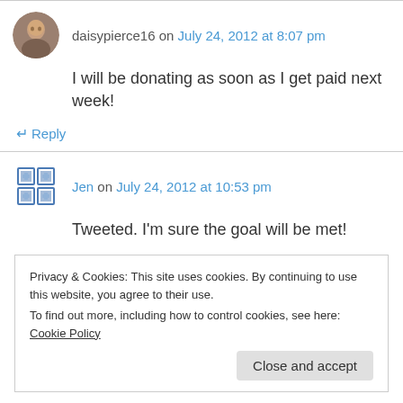daisypierce16 on July 24, 2012 at 8:07 pm
I will be donating as soon as I get paid next week!
↵ Reply
Jen on July 24, 2012 at 10:53 pm
Tweeted. I'm sure the goal will be met!
Privacy & Cookies: This site uses cookies. By continuing to use this website, you agree to their use.
To find out more, including how to control cookies, see here: Cookie Policy
Close and accept